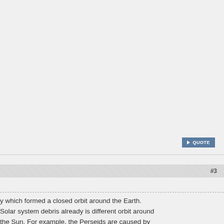[Figure (other): Large empty gray panel area (top portion of a forum page, image area above a post)]
QUOTE button
#3
y which formed a closed orbit around the Earth. Solar system debris already is different orbit around the Sun. For example, the Perseids are caused by oris travels in roughly the same trajectory as the comet, which crosses Earth's ith a high relative velocity to the Earth. Any such piece of debris falling